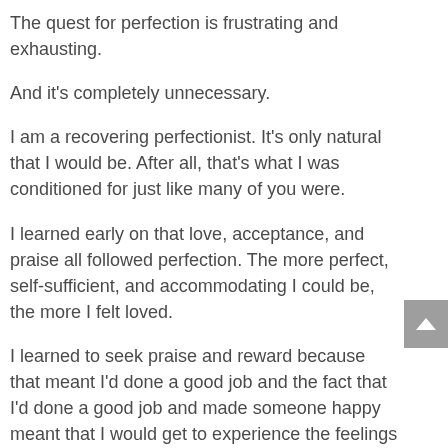The quest for perfection is frustrating and exhausting.
And it's completely unnecessary.
I am a recovering perfectionist. It's only natural that I would be. After all, that's what I was conditioned for just like many of you were.
I learned early on that love, acceptance, and praise all followed perfection. The more perfect, self-sufficient, and accommodating I could be, the more I felt loved.
I learned to seek praise and reward because that meant I'd done a good job and the fact that I'd done a good job and made someone happy meant that I would get to experience the feelings of being loved. At least, that's how I laid down the tracks of